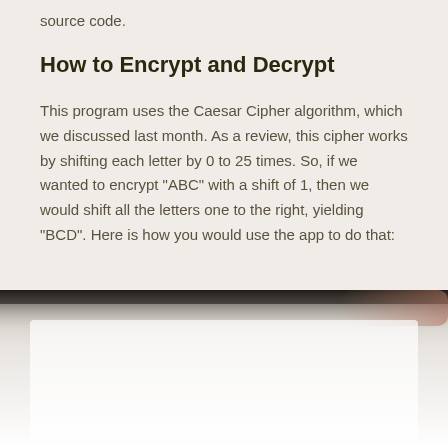source code.
How to Encrypt and Decrypt
This program uses the Caesar Cipher algorithm, which we discussed last month. As a review, this cipher works by shifting each letter by 0 to 25 times. So, if we wanted to encrypt "ABC" with a shift of 1, then we would shift all the letters one to the right, yielding "BCD". Here is how you would use the app to do that:
[Figure (screenshot): A blurred/partially visible screenshot of the application interface, showing a dark top bar and light content area below.]